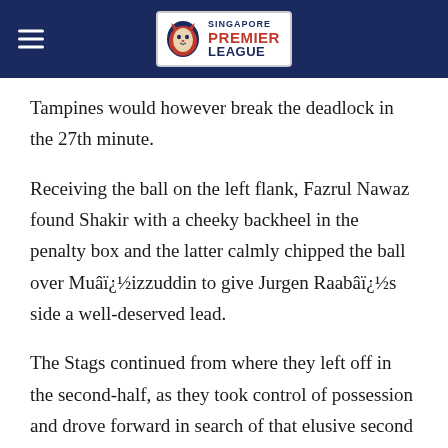Singapore Premier League
Tampines would however break the deadlock in the 27th minute.
Receiving the ball on the left flank, Fazrul Nawaz found Shakir with a cheeky backheel in the penalty box and the latter calmly chipped the ball over Muâ€™izzuddin to give Jurgen Raabâ€™s side a well-deserved lead.
The Stags continued from where they left off in the second-half, as they took control of possession and drove forward in search of that elusive second goal. They were nearly rewarded when a brilliant cross from Ismadi Mukhtar found Fazrul in the box but the forward